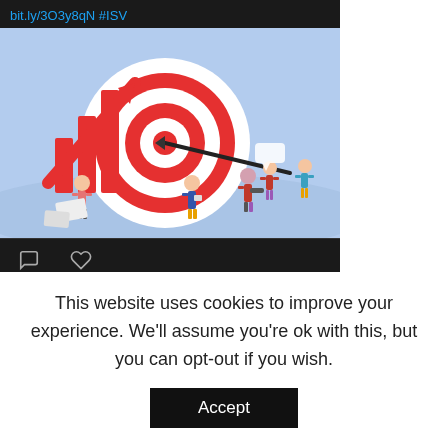bit.ly/3O3y8qN #ISV
[Figure (illustration): Business illustration showing a target/bullseye with red arrow hitting it, red bar chart arrows rising, and small illustrated people around the target against a light blue background]
DevPro Journal @DevProJournal · Jul 12
"5 Benefits of a Well-Executed Low-Code
This website uses cookies to improve your experience. We'll assume you're ok with this, but you can opt-out if you wish.
Accept